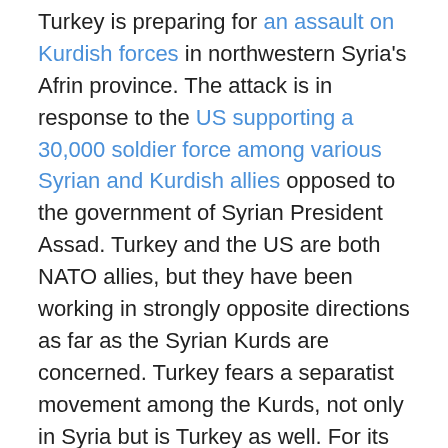Turkey is preparing for an assault on Kurdish forces in northwestern Syria's Afrin province. The attack is in response to the US supporting a 30,000 soldier force among various Syrian and Kurdish allies opposed to the government of Syrian President Assad. Turkey and the US are both NATO allies, but they have been working in strongly opposite directions as far as the Syrian Kurds are concerned. Turkey fears a separatist movement among the Kurds, not only in Syria but is Turkey as well. For its part, the US has a very confusing policy toward the Kurds. It supports the Syrian Kurds, but flatly opposed the Kurdish bid for independence in Iraq. The difference is easy to explain: the US considers Iraq an ally, and does not wish it to be torn apart by Kurdish independence; but Syria is an enemy, supported by Russia, and the US welcomes that friction. But, if one were a Kurd, the